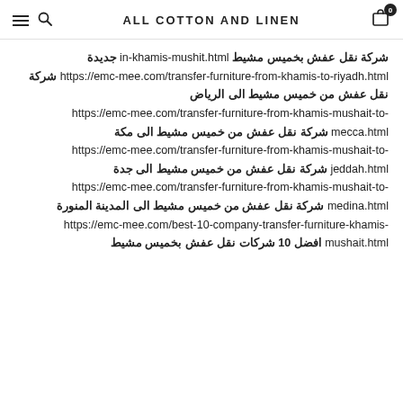ALL COTTON AND LINEN
شركة نقل عفش بخميس مشيط in-khamis-mushit.html جديدة https://emc-mee.com/transfer-furniture-from-khamis-to-riyadh.html شركة نقل عفش من خميس مشيط الى الرياض https://emc-mee.com/transfer-furniture-from-khamis-mushait-to-mecca.html شركة نقل عفش من خميس مشيط الى مكة https://emc-mee.com/transfer-furniture-from-khamis-mushait-to-jeddah.html شركة نقل عفش من خميس مشيط الى جدة https://emc-mee.com/transfer-furniture-from-khamis-mushait-to-medina.html شركة نقل عفش من خميس مشيط الى المدينة المنورة https://emc-mee.com/best-10-company-transfer-furniture-khamis-mushait.html افضل 10 شركات نقل عفش بخميس مشيط